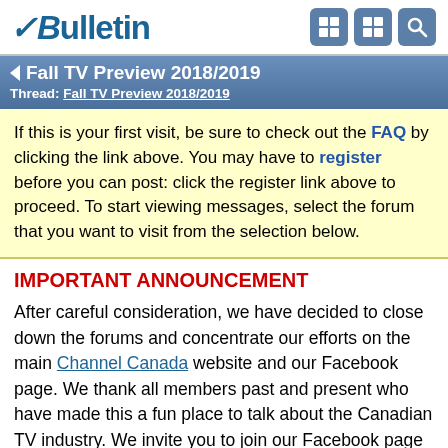vBulletin
Fall TV Preview 2018/2019
Thread: Fall TV Preview 2018/2019
If this is your first visit, be sure to check out the FAQ by clicking the link above. You may have to register before you can post: click the register link above to proceed. To start viewing messages, select the forum that you want to visit from the selection below.
IMPORTANT ANNOUNCEMENT
After careful consideration, we have decided to close down the forums and concentrate our efforts on the main Channel Canada website and our Facebook page. We thank all members past and present who have made this a fun place to talk about the Canadian TV industry. We invite you to join our Facebook page at: https://www.facebook.com/ChannelCanada